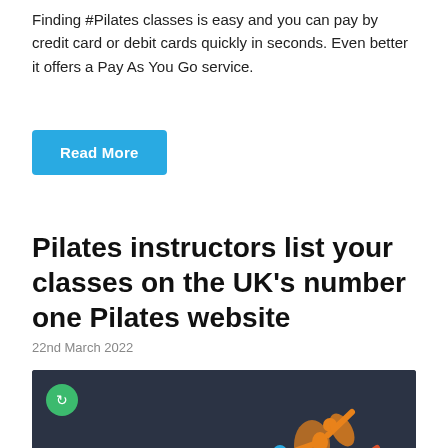Finding #Pilates classes is easy and you can pay by credit card or debit cards quickly in seconds. Even better it offers a Pay As You Go service.
Read More
Pilates instructors list your classes on the UK's number one Pilates website
22nd March 2022
[Figure (illustration): Dark background promotional banner with three stylized Pilates figure illustrations in orange, blue, and green/lime poses, with a green circular icon top-left, bold white text 'Let's Get to Work' and green text 'Join the Best']